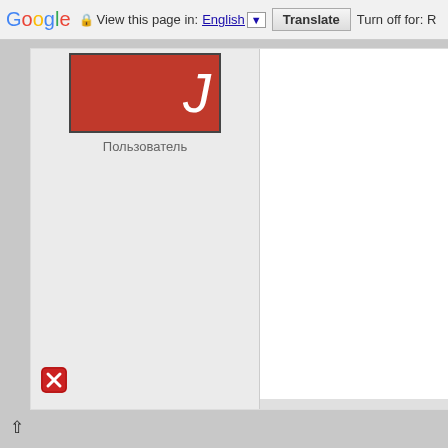[Figure (screenshot): Google Translate toolbar at top of browser page showing 'View this page in: English [dropdown] Translate | Turn off for: R' with Google logo on left]
[Figure (screenshot): Partial browser content showing a card with a red thumbnail image containing a white italic letter J, caption text in Russian 'Пользователь' (User), a red X icon at bottom left, and a right panel. Below the card is a gray background area. At the bottom left is an up arrow icon.]
Пользователь
Turn off for: R